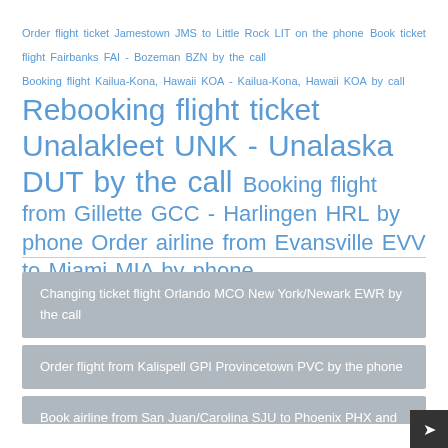Order flight ticket Jamestown JMS to Little Rock LIT on the phone Book ticket flight Fairbanks FAI - Bozeman BZN by the call Booking flight Kailua-Kona, Hawaii KOA - Kailua-Kona, Hawaii KOA by call Rebooking flight ticket Unalakleet UNK - Unalaska DUT by the call Booking flight from Gillette GCC - Harlingen HRL by phone Order airline from Evansville EVV to Miami MIA by phone
Changing ticket flight Orlando MCO New York/Newark EWR by the call
Order flight from Kalispell GPI Provincetown PVC by the phone
Book airline from San Juan/Carolina SJU to Phoenix PHX and...